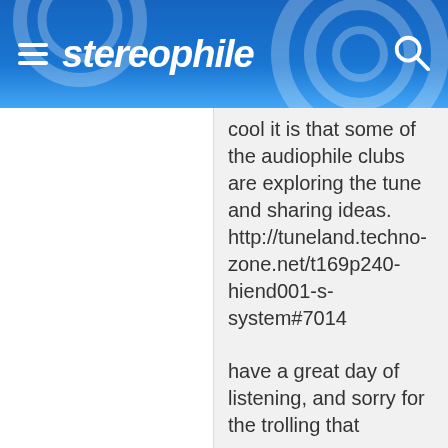stereophile
cool it is that some of the audiophile clubs are exploring the tune and sharing ideas. http://tuneland.techno-zone.net/t169p240-hiend001-s-system#7014

have a great day of listening, and sorry for the trolling that